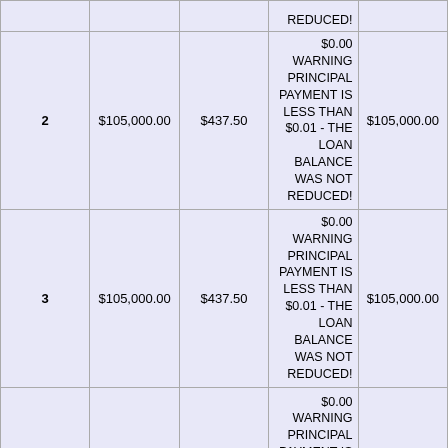| # | Balance | Payment | Principal | New Balance |
| --- | --- | --- | --- | --- |
|  |  |  | REDUCED! |  |
| 2 | $105,000.00 | $437.50 | $0.00
WARNING PRINCIPAL PAYMENT IS LESS THAN $0.01 - THE LOAN BALANCE WAS NOT REDUCED! | $105,000.00 |
| 3 | $105,000.00 | $437.50 | $0.00
WARNING PRINCIPAL PAYMENT IS LESS THAN $0.01 - THE LOAN BALANCE WAS NOT REDUCED! | $105,000.00 |
| 4 | $105,000.00 | $437.50 | $0.00
WARNING PRINCIPAL PAYMENT IS LESS THAN $0.01 - THE LOAN BALANCE WAS NOT REDUCED! (partial) | $105,000.00 |